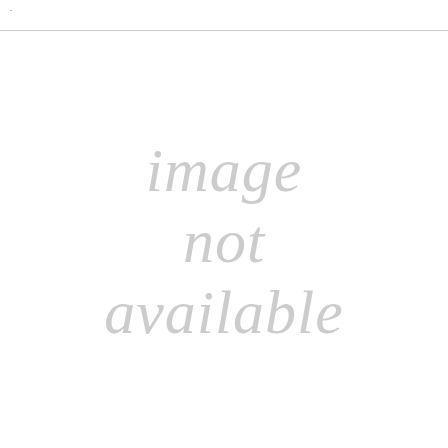·
[Figure (other): Placeholder image showing text 'image not available' in large light italic gray letters on a white background, with a horizontal divider line near the top of the page.]